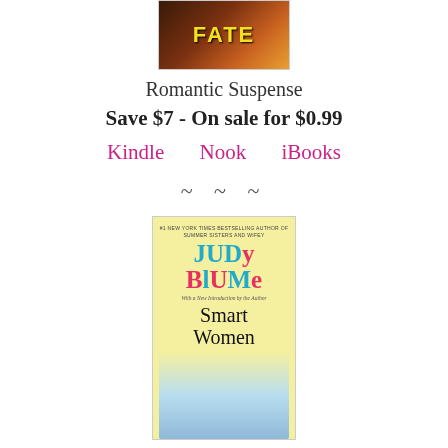[Figure (photo): Top portion of a book cover with orange/red background and yellow text showing 'FATE' (partial title visible)]
Romantic Suspense
Save $7 - On sale for $0.99
Kindle    Nook    iBooks
~ ~ ~
[Figure (photo): Book cover for 'Smart Women' by Judy Blume. Yellow background with colorful author name in pink and teal letters. Subtitle: #1 New York Times Bestselling Author of Summer Sisters and Wifey. With a New Introduction by the Author.]